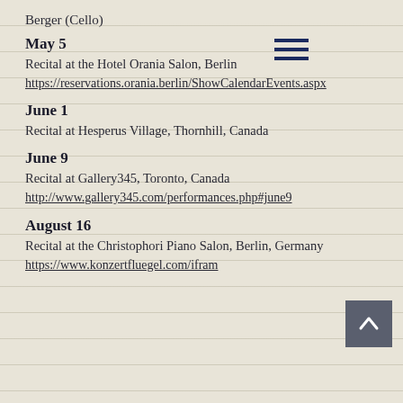Berger (Cello)
May 5
Recital at the Hotel Orania Salon, Berlin
https://reservations.orania.berlin/ShowCalendarEvents.aspx
June 1
Recital at Hesperus Village, Thornhill, Canada
June 9
Recital at Gallery345, Toronto, Canada
http://www.gallery345.com/performances.php#june9
August 16
Recital at the Christophori Piano Salon, Berlin, Germany
https://www.konzertfluegel.com/ifram